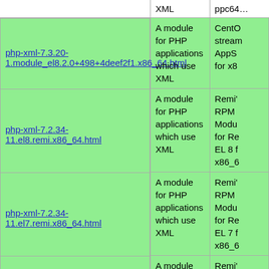|  | XML | ppc64… |
| --- | --- | --- |
| php-xml-7.3.20-1.module_el8.2.0+498+4deef2f1.x86_64.html | A module for PHP applications which use XML | CentO… stream… AppS… for x8… |
| php-xml-7.2.34-11.el8.remi.x86_64.html | A module for PHP applications which use XML | Remi'… RPM … Modu… for Re… EL 8 f… x86_6… |
| php-xml-7.2.34-11.el7.remi.x86_64.html | A module for PHP applications which use XML | Remi'… RPM … Modu… for Re… EL 7 f… x86_6… |
| php-xml-7.2.34-10.el8.remi.x86_64.html | A module for PHP applications which use XML | Remi'… RPM … Modu… for Re… EL 8 f… x86_6… |